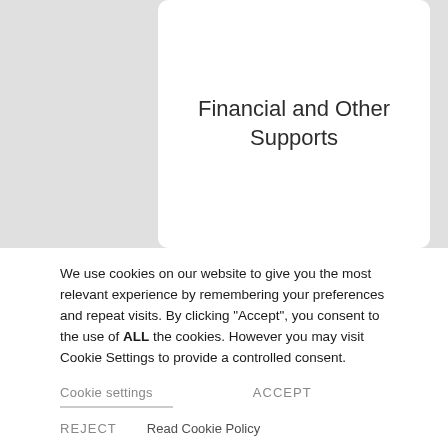Financial and Other Supports
[Figure (illustration): Teal square icon with a white open book / map icon]
We use cookies on our website to give you the most relevant experience by remembering your preferences and repeat visits. By clicking “Accept”, you consent to the use of ALL the cookies. However you may visit Cookie Settings to provide a controlled consent.
Cookie settings
ACCEPT
REJECT
Read Cookie Policy